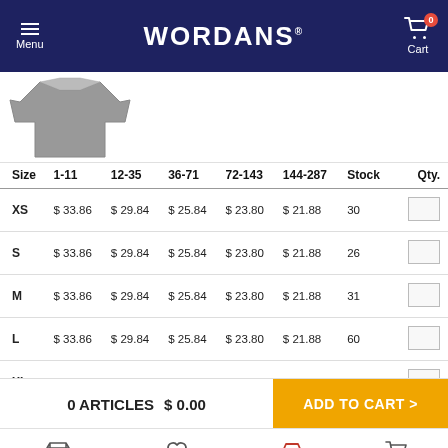WORDANS
[Figure (photo): Partial view of a grey t-shirt product image]
| Size | 1-11 | 12-35 | 36-71 | 72-143 | 144-287 | Stock | Qty. |
| --- | --- | --- | --- | --- | --- | --- | --- |
| XS | $33.86 | $29.84 | $25.84 | $23.80 | $21.88 | 30 |  |
| S | $33.86 | $29.84 | $25.84 | $23.80 | $21.88 | 26 |  |
| M | $33.86 | $29.84 | $25.84 | $23.80 | $21.88 | 31 |  |
| L | $33.86 | $29.84 | $25.84 | $23.80 | $21.88 | 60 |  |
| XL | $33.86 | $29.84 | $25.84 | $23.80 | $21.88 | 31 |  |
| 2XL | $33.86 | $29.84 | $25.84 | $23.80 | $21.88 | 26 |  |
0 ARTICLES   $ 0.00
ADD TO CART >
Catalog   Favorites   Outlet   Cart